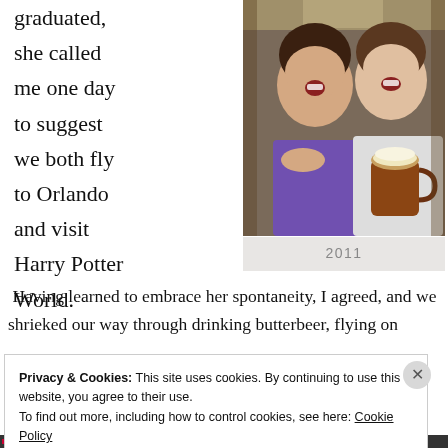graduated, she called me one day to suggest we both fly to Orlando and visit Harry Potter World.
[Figure (photo): Two young women smiling and laughing together, one in a purple shirt and one in a white shirt, holding a large mug with a frothy drink, seated at what appears to be a restaurant or pub.]
2011
Having learned to embrace her spontaneity, I agreed, and we shrieked our way through drinking butterbeer, flying on
Privacy & Cookies: This site uses cookies. By continuing to use this website, you agree to their use.
To find out more, including how to control cookies, see here: Cookie Policy
Close and accept